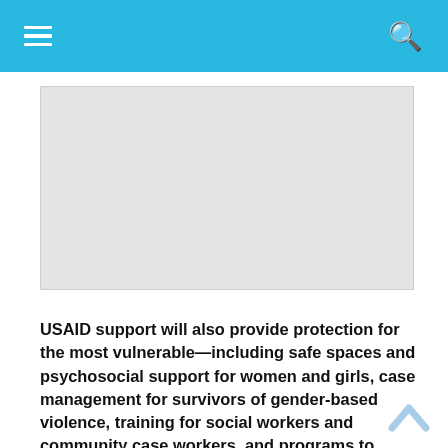≡  🔍
[Figure (photo): Placeholder image area, light gray background]
USAID support will also provide protection for the most vulnerable—including safe spaces and psychosocial support for women and girls, case management for survivors of gender-based violence, training for social workers and community case workers, and programs to reunite children separated from their families.
Amidst considerable insecurity and humanitarian access constraints, USAID